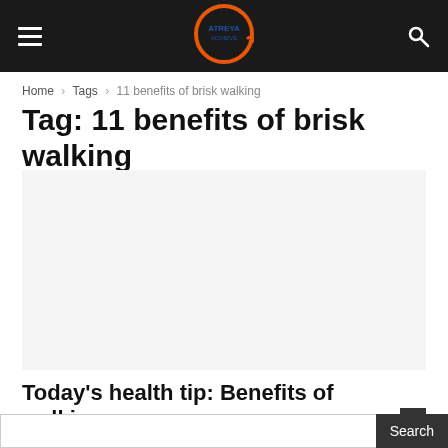Navigation bar with hamburger menu, site logo, and search icon
Home › Tags › 11 benefits of brisk walking
Tag: 11 benefits of brisk walking
[Figure (photo): Blank/placeholder article image area]
Today's health tip: Benefits of walking
laxmikanth  -  June 29, 2019
Search